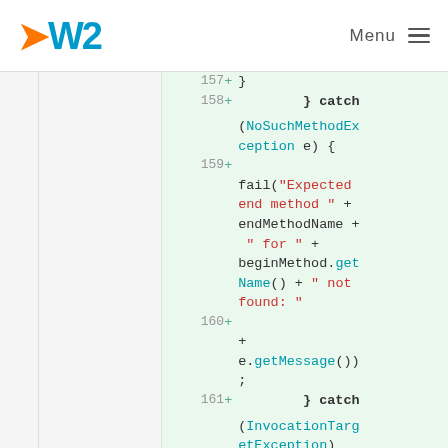OW2 Menu
[Figure (screenshot): Code diff screenshot showing Java code lines 157-161 with line numbers and + indicators on green background. Lines show: } catch (NoSuchMethodException e) { fail("Expected end method " + endMethodName + " for " + beginMethod.getName() + " not found: " + e.getMessage()); } catch (InvocationTargetException)]